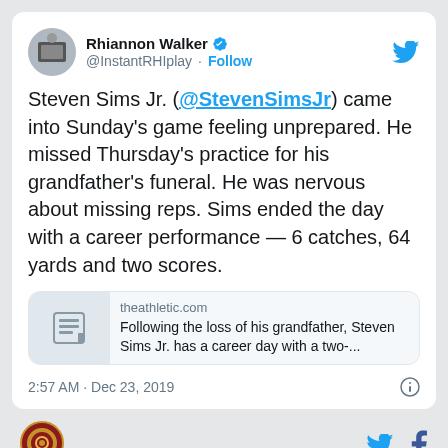[Figure (screenshot): Twitter/social media screenshot of a tweet by Rhiannon Walker (@InstantRHIplay) about Steven Sims Jr.]
Rhiannon Walker @InstantRHIplay · Follow
Steven Sims Jr. (@StevenSimsJr) came into Sunday's game feeling unprepared. He missed Thursday's practice for his grandfather's funeral. He was nervous about missing reps. Sims ended the day with a career performance — 6 catches, 64 yards and two scores.
theathletic.com Following the loss of his grandfather, Steven Sims Jr. has a career day with a two-...
2:57 AM · Dec 23, 2019